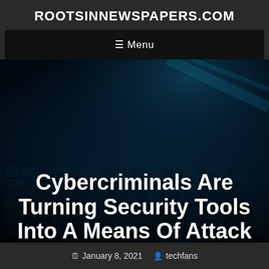ROOTSINNEWSPAPERS.COM
≡ Menu
[Figure (photo): Dark background photo of a laptop keyboard with blue teal lighting, used as hero image behind article title]
Cybercriminals Are Turning Security Tools Into A Means Of Attack
January 8, 2021   techfans